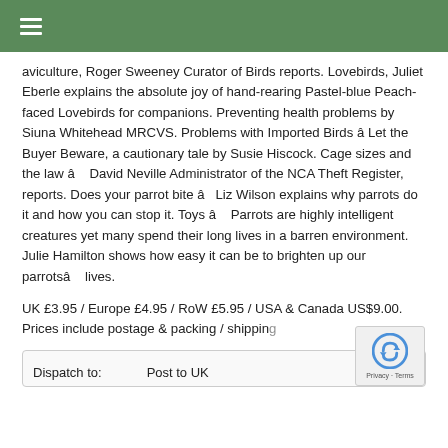☰
aviculture, Roger Sweeney Curator of Birds reports. Lovebirds, Juliet Eberle explains the absolute joy of hand-rearing Pastel-blue Peach-faced Lovebirds for companions. Preventing health problems by Siuna Whitehead MRCVS. Problems with Imported Birds â Let the Buyer Beware, a cautionary tale by Susie Hiscock. Cage sizes and the law â  David Neville Administrator of the NCA Theft Register, reports. Does your parrot bite â  Liz Wilson explains why parrots do it and how you can stop it. Toys â  Parrots are highly intelligent creatures yet many spend their long lives in a barren environment. Julie Hamilton shows how easy it can be to brighten up our parrotsâ  lives.
UK £3.95 / Europe £4.95 / RoW £5.95 / USA & Canada US$9.00. Prices include postage & packing / shipping
| Dispatch to: | Post to UK |
| --- | --- |